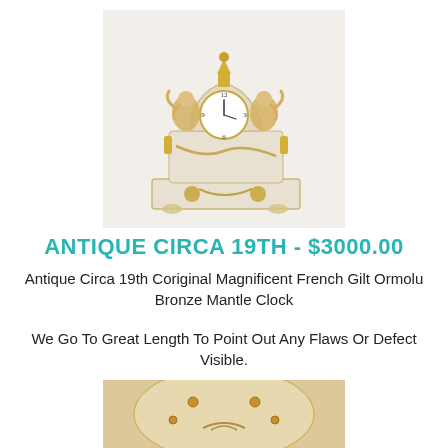[Figure (photo): Antique French gilt ormolu bronze mantle clock with cherub figurines on white marble base, gold ornamental details]
ANTIQUE CIRCA 19TH - $3000.00
Antique Circa 19th Coriginal Magnificent French Gilt Ormolu Bronze Mantle Clock
We Go To Great Length To Point Out Any Flaws Or Defect Visible.
[Figure (photo): Close-up partial view of the antique clock showing cream/ivory colored top surface with gold studs and decorative elements]